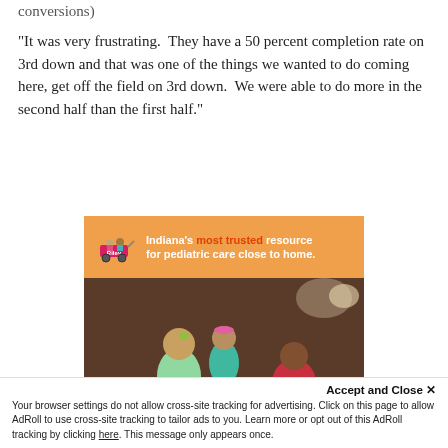conversions)
"It was very frustrating.  They have a 50 percent completion rate on 3rd down and that was one of the things we wanted to do coming here, get off the field on 3rd down.  We were able to do more in the second half than the first half."
[Figure (illustration): Advertisement for Riley Children's Health: orange header with wagon logo and text 'Indiana’s most trusted resource for pediatric care close to home.' followed by a photo of a mother and two daughters in a living room.]
Accept and Close ×
Your browser settings do not allow cross-site tracking for advertising. Click on this page to allow AdRoll to use cross-site tracking to tailor ads to you. Learn more or opt out of this AdRoll tracking by clicking here. This message only appears once.